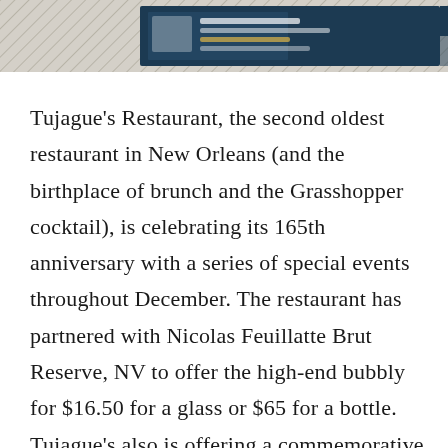[Figure (other): Header image showing a banner/logo for a restaurant at Sandestin, with teal/navy background and decorative diagonal hatching on sides]
Tujague’s Restaurant, the second oldest restaurant in New Orleans (and the birthplace of brunch and the Grasshopper cocktail), is celebrating its 165th anniversary with a series of special events throughout December. The restaurant has partnered with Nicolas Feuillatte Brut Reserve, NV to offer the high-end bubbly for $16.50 for a glass or $65 for a bottle. Tujague’s also is offering a commemorative 1856 Sazerac Collection of cocktails that includes the High West Rye Whiskey ($25), the ‘1840’ Pierre Ferrand Grand Champagne Cognac ($18) and the Sazerac Rye